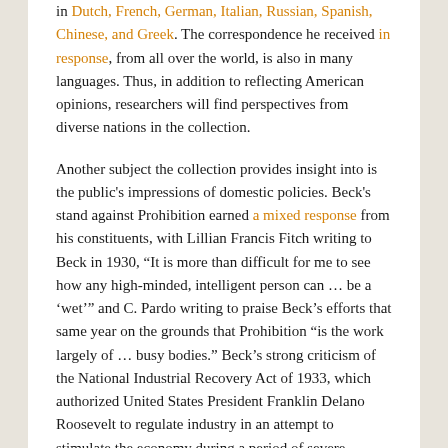in Dutch, French, German, Italian, Russian, Spanish, Chinese, and Greek. The correspondence he received in response, from all over the world, is also in many languages. Thus, in addition to reflecting American opinions, researchers will find perspectives from diverse nations in the collection.

Another subject the collection provides insight into is the public's impressions of domestic policies. Beck's stand against Prohibition earned a mixed response from his constituents, with Lillian Francis Fitch writing to Beck in 1930, “It is more than difficult for me to see how any high-minded, intelligent person can … be a ‘wet’” and C. Pardo writing to praise Beck’s efforts that same year on the grounds that Prohibition “is the work largely of … busy bodies.” Beck’s strong criticism of the National Industrial Recovery Act of 1933, which authorized United States President Franklin Delano Roosevelt to regulate industry in an attempt to stimulate the economy during a period of severe deflation, also resulted a variety of responses. Most letters on the subject in our collection heaped praise upon Beck for his stand, but Gable Wolfair urged a more